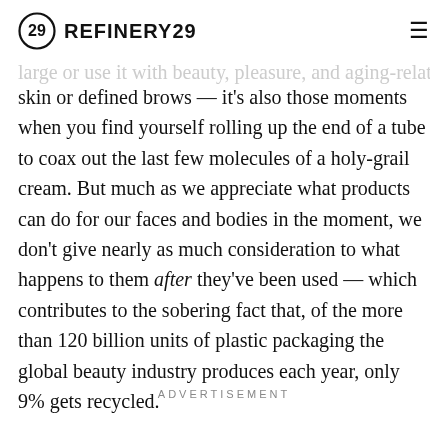REFINERY29
skin or defined brows — it's also those moments when you find yourself rolling up the end of a tube to coax out the last few molecules of a holy-grail cream. But much as we appreciate what products can do for our faces and bodies in the moment, we don't give nearly as much consideration to what happens to them after they've been used — which contributes to the sobering fact that, of the more than 120 billion units of plastic packaging the global beauty industry produces each year, only 9% gets recycled.
ADVERTISEMENT